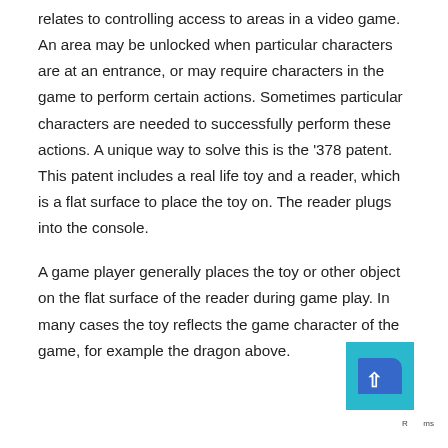relates to controlling access to areas in a video game. An area may be unlocked when particular characters are at an entrance, or may require characters in the game to perform certain actions. Sometimes particular characters are needed to successfully perform these actions. A unique way to solve this is the '378 patent. This patent includes a real life toy and a reader, which is a flat surface to place the toy on. The reader plugs into the console.
A game player generally places the toy or other object on the flat surface of the reader during game play. In many cases the toy reflects the game character of the game, for example the dragon above.